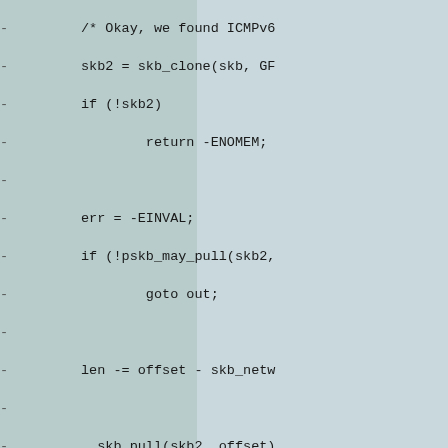Code diff showing ICMPv6/MLD kernel networking code with removed lines (prefixed with -):
- /* Okay, we found ICMPv6
-         skb2 = skb_clone(skb, GF
-         if (!skb2)
-                 return -ENOMEM;
-
-         err = -EINVAL;
-         if (!pskb_may_pull(skb2,
-                 goto out;
-
-         len -= offset - skb_netw
-
-         __skb_pull(skb2, offset)
-         skb_reset_transport_head
-         skb_postpull_rcsum(skb2,
-                                 skb_n
-
-         icmp6_type = icmp6_hdr(s
-
-         switch (icmp6_type) {
-         case ICMPV6_MGM_QUERY:
-         case ICMPV6_MGM_REPORT:
-         case ICMPV6_MGM_REDUCTIO
-         case ICMPV6_MLD2_REPORT:
-                 break;
-         default:
-                 err = 0;
-                 goto out;
-         }
-
-         /* Okay, we found MLD me